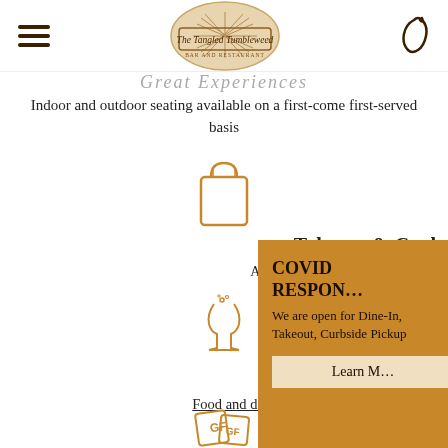[Figure (logo): The Tangled Tumbleweed restaurant logo — circular wood-grain badge with tumbleweed illustration]
Indoor and outdoor seating available on a first-come first-served basis
[Figure (illustration): Shopping bag icon in gold/tan outline]
Takeout & Curbside Pickup
Available Wednesdays & Thursdays 'till close and Fridays & Saturdays 'till 6pm
[Figure (illustration): Champagne glasses clinking icon in gold/tan outline]
Happy Hour
Food and drink specials from 4pm-6pm every Wednesday, Thursday, & Friday
[Figure (illustration): GF (Gluten Free) menu cards icon in gold/tan outline]
COVID RESPONSE
We are open for Dine-In, Takeout, Curbside Pickup
Learn More